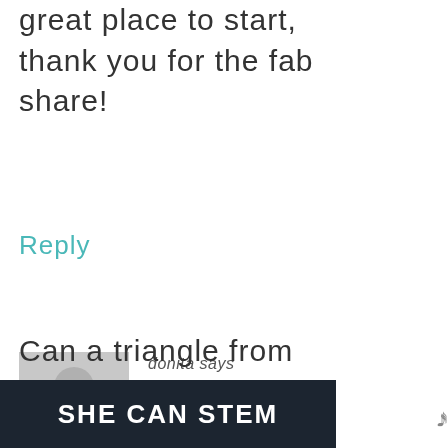great place to start, thank you for the fab share!
Reply
[Figure (illustration): Gray placeholder avatar icon showing silhouette of a person with circular head and rounded body shoulders]
donita says
FEBRUARY 14, 2019 AT 7:06 PM
Can a triangle from
SHE CAN STEM